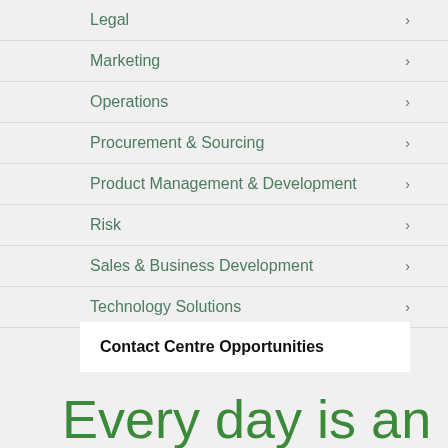Legal
Marketing
Operations
Procurement & Sourcing
Product Management & Development
Risk
Sales & Business Development
Technology Solutions
Contact Centre Opportunities
Every day is an